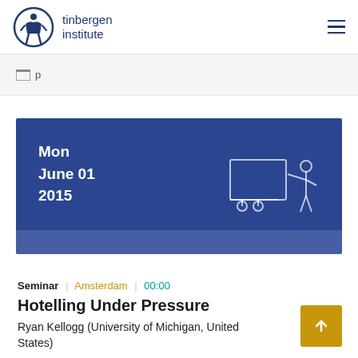tinbergen institute
p (partial breadcrumb)
[Figure (illustration): Blue banner with date Mon June 01 2015 and a line-art illustration of a presenter at a whiteboard on wheels]
Seminar | Amsterdam | 00:00
Hotelling Under Pressure
Ryan Kellogg (University of Michigan, United States)
Spatial Economics Seminar